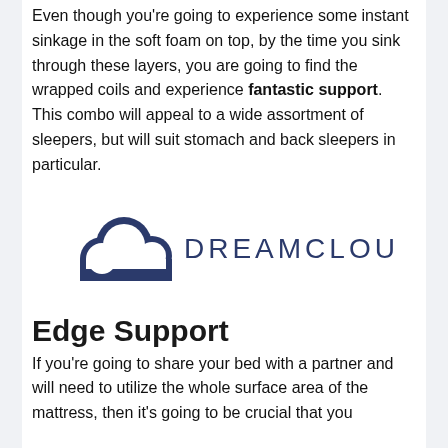Even though you're going to experience some instant sinkage in the soft foam on top, by the time you sink through these layers, you are going to find the wrapped coils and experience fantastic support. This combo will appeal to a wide assortment of sleepers, but will suit stomach and back sleepers in particular.
[Figure (logo): DreamCloud logo: a dark navy cloud icon on the left and the text DREAMCLOUD in spaced dark navy letters on the right]
Edge Support
If you're going to share your bed with a partner and will need to utilize the whole surface area of the mattress, then it's going to be crucial that you